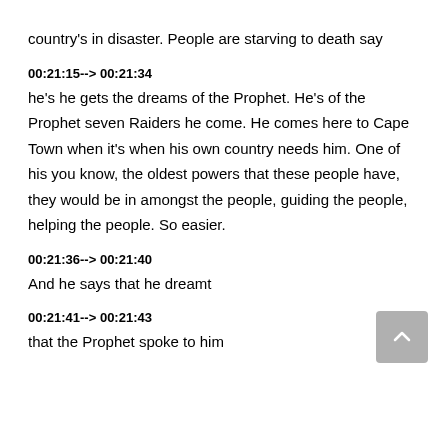country's in disaster. People are starving to death say
00:21:15--> 00:21:34
he's he gets the dreams of the Prophet. He's of the Prophet seven Raiders he come. He comes here to Cape Town when it's when his own country needs him. One of his you know, the oldest powers that these people have, they would be in amongst the people, guiding the people, helping the people. So easier.
00:21:36--> 00:21:40
And he says that he dreamt
00:21:41--> 00:21:43
that the Prophet spoke to him